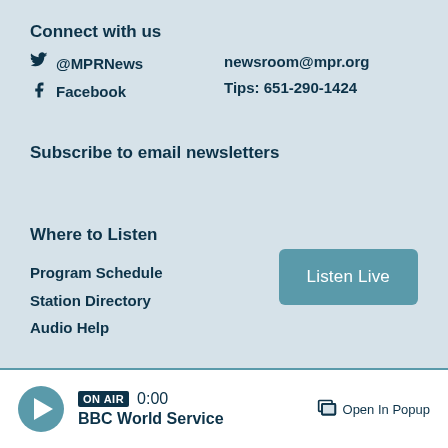Connect with us
@MPRNews
newsroom@mpr.org
Facebook
Tips: 651-290-1424
Subscribe to email newsletters
Where to Listen
Program Schedule
Station Directory
Audio Help
ON AIR 0:00 BBC World Service Open In Popup